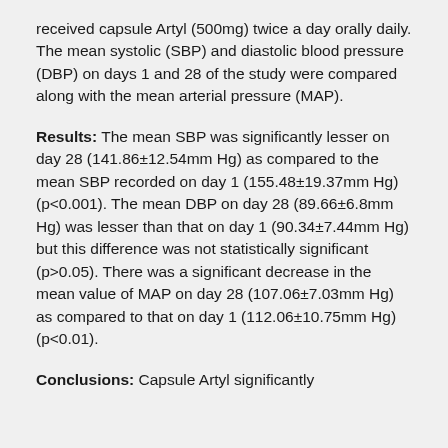received capsule Artyl (500mg) twice a day orally daily. The mean systolic (SBP) and diastolic blood pressure (DBP) on days 1 and 28 of the study were compared along with the mean arterial pressure (MAP).
Results: The mean SBP was significantly lesser on day 28 (141.86±12.54mm Hg) as compared to the mean SBP recorded on day 1 (155.48±19.37mm Hg) (p<0.001). The mean DBP on day 28 (89.66±6.8mm Hg) was lesser than that on day 1 (90.34±7.44mm Hg) but this difference was not statistically significant (p>0.05). There was a significant decrease in the mean value of MAP on day 28 (107.06±7.03mm Hg) as compared to that on day 1 (112.06±10.75mm Hg) (p<0.01).
Conclusions: Capsule Artyl significantly